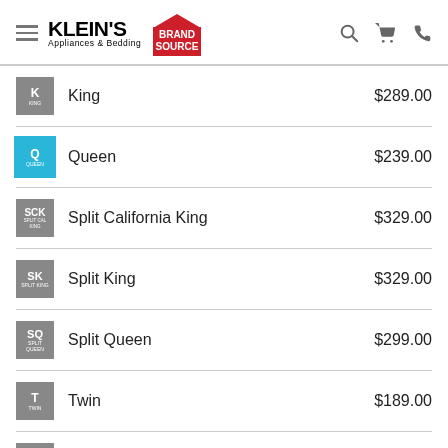Klein's Appliances & Bedding — Brand Source
| Size | Name | Price |
| --- | --- | --- |
| K / King | King | $289.00 |
| Q / Queen | Queen | $239.00 |
| SCK / Split California King | Split California King | $329.00 |
| SK / Split King | Split King | $329.00 |
| SQ / Split Queen | Split Queen | $299.00 |
| T / Twin | Twin | $189.00 |
| TL / Twin Long | Twin Long | $199.00 |